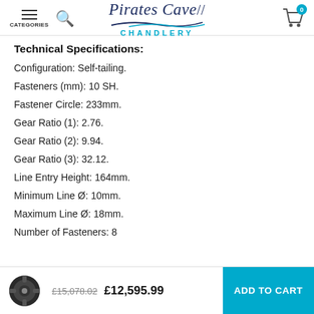Pirates Cave Chandlery — navigation header with logo, categories, search, and cart
Technical Specifications:
Configuration: Self-tailing.
Fasteners (mm): 10 SH.
Fastener Circle: 233mm.
Gear Ratio (1): 2.76.
Gear Ratio (2): 9.94.
Gear Ratio (3): 32.12.
Line Entry Height: 164mm.
Minimum Line Ø: 10mm.
Maximum Line Ø: 18mm.
Number of Fasteners: 8
£15,078.02  £12,595.99  ADD TO CART